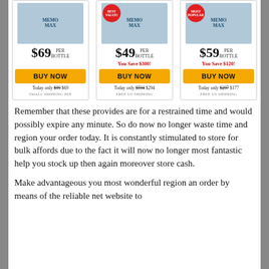[Figure (other): Three product pricing cards for a supplement called Memo (or similar). Left card: $69 per bottle, BUY NOW button, Today only $99 $69, SMALL SHIPPING FEE. Middle card: Best Value badge, $49 per bottle, You Save $300!, BUY NOW button, Today only $594 $294, FREE US SHIPPING. Right card: Most Popular badge, $59 per bottle, You Save $120!, BUY NOW button, Today only $297 $177, FREE US SHIPPING.]
Remember that these provides are for a restrained time and would possibly expire any minute. So do now no longer waste time and region your order today. It is constantly stimulated to store for bulk affords due to the fact it will now no longer most fantastic help you stock up then again moreover store cash.
Make advantageous you most wonderful region an order by means of the reliable net website to